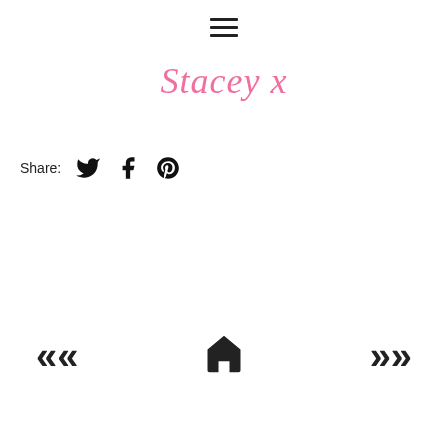[Figure (other): Hamburger menu icon — three horizontal lines]
Stacey x
Share: [Twitter icon] [Facebook icon] [Pinterest icon]
[Figure (other): Navigation bar with left double-arrow, home icon, and right double-arrow]